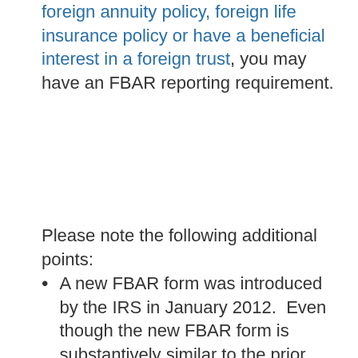foreign annuity policy, foreign life insurance policy or have a beneficial interest in a foreign trust, you may have an FBAR reporting requirement.
Please note the following additional points:
A new FBAR form was introduced by the IRS in January 2012.  Even though the new FBAR form is substantively similar to the prior version, you should use the new form.
Recently enacted Treasury Regulations now include foreign annuities and foreign life insurance policies owned by U.S. persons which have a cash surrender